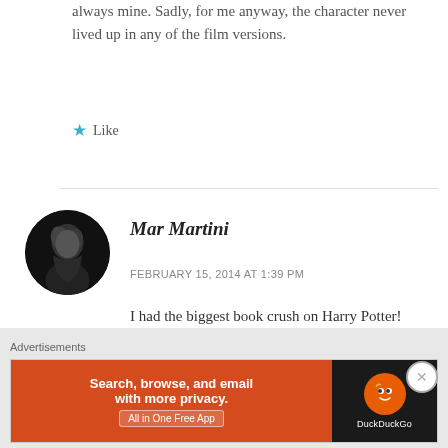always mine. Sadly, for me anyway, the character never lived up in any of the film versions.
★ Like
Mar Martini
FEBRUARY 15, 2014 AT 1:39 PM
I had the biggest book crush on Harry Potter! Magical, sensitive, mysterious, he was my ideal guy... when I was 13 that is.
Advertisements
[Figure (screenshot): DuckDuckGo advertisement banner: orange left side with text 'Search, browse, and email with more privacy.' and 'All in One Free App', dark right side with DuckDuckGo logo]